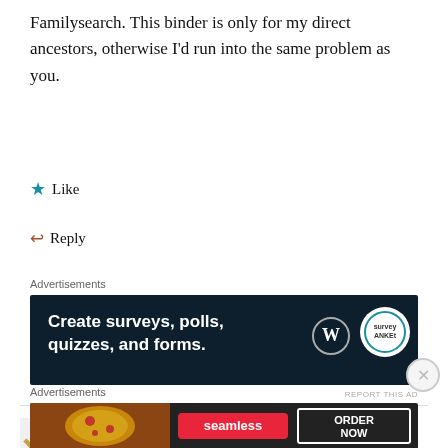Familysearch. This binder is only for my direct ancestors, otherwise I'd run into the same problem as you.
★ Like
↩ Reply
Advertisements
[Figure (screenshot): Dark blue advertisement banner reading 'Create surveys, polls, quizzes, and forms.' with WordPress logo and circular logo on right]
REPORT THIS AD
ANNR
December 8, 2017 / 5:54 am
Advertisements
[Figure (screenshot): Seamless food ordering advertisement showing pizza with 'seamless' logo and 'ORDER NOW' button]